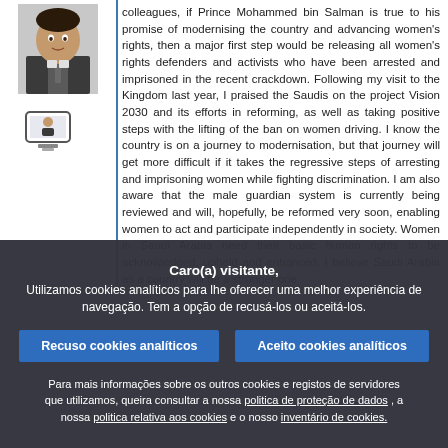[Figure (photo): Photo of a man in a suit in the left column, with a small TV/screen icon below]
colleagues, if Prince Mohammed bin Salman is true to his promise of modernising the country and advancing women's rights, then a major first step would be releasing all women's rights defenders and activists who have been arrested and imprisoned in the recent crackdown. Following my visit to the Kingdom last year, I praised the Saudis on the project Vision 2030 and its efforts in reforming, as well as taking positive steps with the lifting of the ban on women driving. I know the country is on a journey to modernisation, but that journey will get more difficult if it takes the regressive steps of arresting and imprisoning women while fighting discrimination. I am also aware that the male guardian system is currently being reviewed and will, hopefully, be reformed very soon, enabling women to act and participate independently in society. Women in Saudi Arabia need their basic human rights to be acknowledged, upheld and enhanced. I believe Saudi Arabia as a country will be a stronger one
Caro(a) visitante,
Utilizamos cookies analíticos para lhe oferecer uma melhor experiência de navegação. Tem a opção de recusá-los ou aceitá-los.
Recuso cookies analíticos
Aceito cookies analíticos
Para mais informações sobre os outros cookies e registos de servidores que utilizamos, queira consultar a nossa politica de proteção de dados , a nossa politica relativa aos cookies e o nosso inventário de cookies.